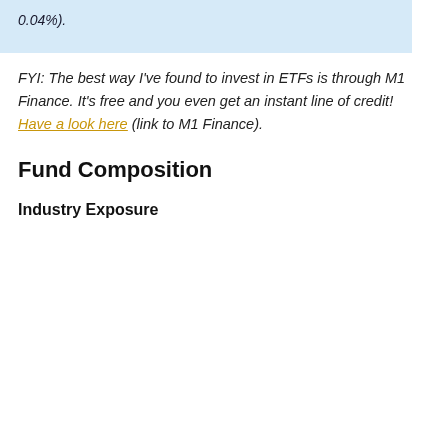0.04%).
FYI: The best way I've found to invest in ETFs is through M1 Finance. It's free and you even get an instant line of credit! Have a look here (link to M1 Finance).
Fund Composition
Industry Exposure